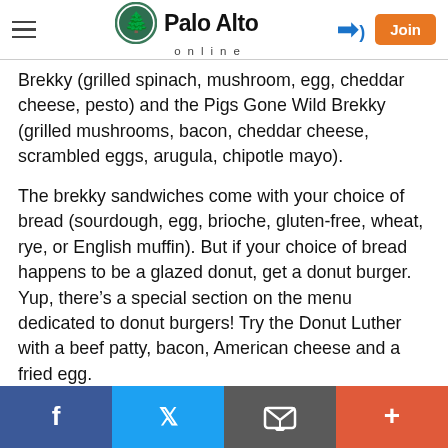Palo Alto online
Brekky (grilled spinach, mushroom, egg, cheddar cheese, pesto) and the Pigs Gone Wild Brekky (grilled mushrooms, bacon, cheddar cheese, scrambled eggs, arugula, chipotle mayo).
The brekky sandwiches come with your choice of bread (sourdough, egg, brioche, gluten-free, wheat, rye, or English muffin). But if your choice of bread happens to be a glazed donut, get a donut burger. Yup, there’s a special section on the menu dedicated to donut burgers! Try the Donut Luther with a beef patty, bacon, American cheese and a fried egg.
Facebook | Twitter | Email | +